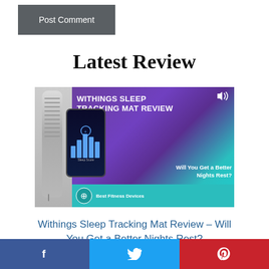Post Comment
Latest Review
[Figure (screenshot): Withings Sleep Tracking Mat Review thumbnail image showing a sleep mat, a phone with sleep tracking app, and text 'WITHINGS SLEEP TRACKING MAT REVIEW — Will You Get a Better Nights Rest?' on a purple background with a teal bar at the bottom showing Best Fitness Devices logo.]
Withings Sleep Tracking Mat Review – Will You Get a Better Nights Rest?
Facebook share | Twitter share | Pinterest share